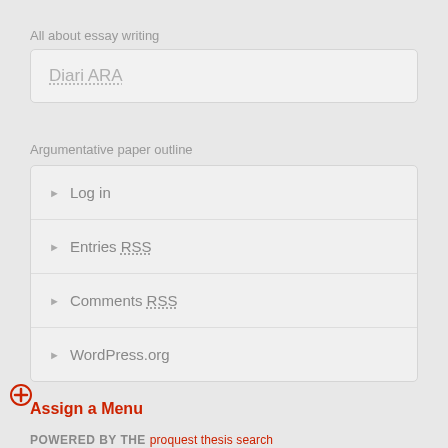All about essay writing
Diari ARA
Argumentative paper outline
▶ Log in
▶ Entries RSS
▶ Comments RSS
▶ WordPress.org
Assign a Menu
POWERED BY THE proquest thesis search